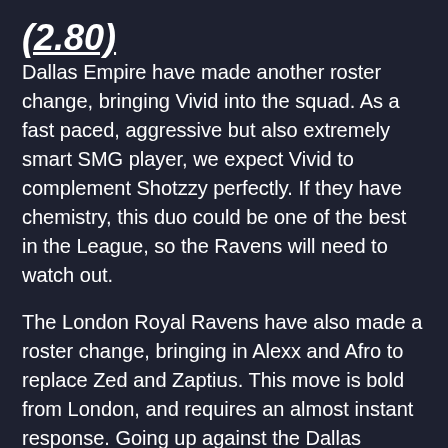(2.80)
Dallas Empire have made another roster change, bringing Vivid into the squad. As a fast paced, aggressive but also extremely smart SMG player, we expect Vivid to complement Shotzzy perfectly. If they have chemistry, this duo could be one of the best in the League, so the Ravens will need to watch out.
The London Royal Ravens have also made a roster change, bringing in Alexx and Afro to replace Zed and Zaptius. This move is bold from London, and requires an almost instant response. Going up against the Dallas Empire won't be easy, but London could pull off an upset here.